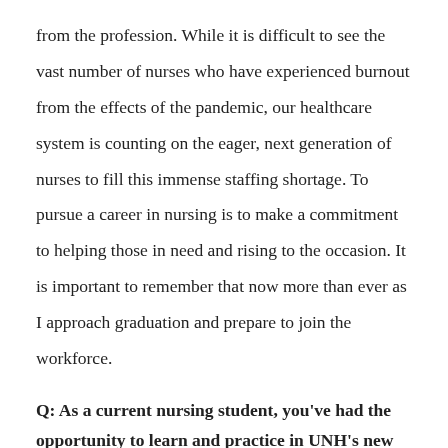from the profession. While it is difficult to see the vast number of nurses who have experienced burnout from the effects of the pandemic, our healthcare system is counting on the eager, next generation of nurses to fill this immense staffing shortage. To pursue a career in nursing is to make a commitment to helping those in need and rising to the occasion. It is important to remember that now more than ever as I approach graduation and prepare to join the workforce.
Q: As a current nursing student, you've had the opportunity to learn and practice in UNH's new Health Sciences Simulation Center. What has that been like?
The Health Science Simulation Center truly is a remarkable facility. The new technology, equipment and space collectively provide us with an environment that fosters growth and